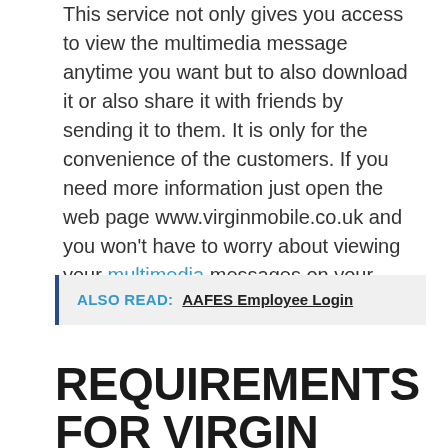This service not only gives you access to view the multimedia message anytime you want but to also download it or also share it with friends by sending it to them. It is only for the convenience of the customers. If you need more information just open the web page www.virginmobile.co.uk and you won't have to worry about viewing your multimedia messages on your Virgin Mobile Phone anymore.
ALSO READ: AAFES Employee Login
REQUIREMENTS FOR VIRGIN MOBILE MULTIMEDIA MESSAGE ONLINE: